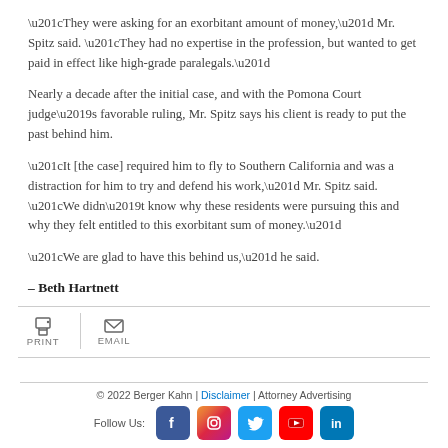“They were asking for an exorbitant amount of money,” Mr. Spitz said. “They had no expertise in the profession, but wanted to get paid in effect like high-grade paralegals.”
Nearly a decade after the initial case, and with the Pomona Court judge’s favorable ruling, Mr. Spitz says his client is ready to put the past behind him.
“It [the case] required him to fly to Southern California and was a distraction for him to try and defend his work,” Mr. Spitz said. “We didn’t know why these residents were pursuing this and why they felt entitled to this exorbitant sum of money.”
“We are glad to have this behind us,” he said.
– Beth Hartnett
[Figure (infographic): Print and Email action buttons with icons separated by vertical divider]
© 2022 Berger Kahn | Disclaimer | Attorney Advertising
Follow Us: [Facebook] [Instagram] [Twitter] [YouTube] [LinkedIn]